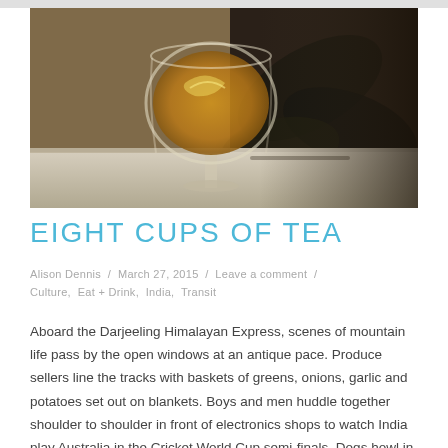[Figure (photo): A glass of amber-colored tea on a table, with dark leaf/plant material in the background]
EIGHT CUPS OF TEA
Alison Dennis / March 27, 2015 / Leave a comment / Culture, Eat + Drink, India, Transit
Aboard the Darjeeling Himalayan Express, scenes of mountain life pass by the open windows at an antique pace. Produce sellers line the tracks with baskets of greens, onions, garlic and potatoes set out on blankets. Boys and men huddle together shoulder to shoulder in front of electronics shops to watch India play Australia in the Cricket World Cup semi-finals. Dogs howl in